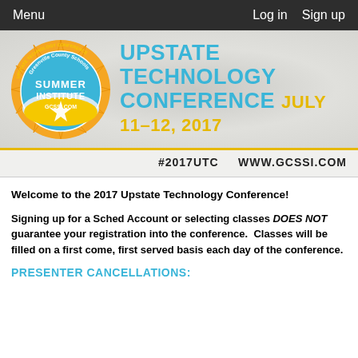Menu   Log in   Sign up
[Figure (logo): Greenville County Schools Summer Institute GCSSI.COM Upstate Technology Conference logo with sun rays and blue circle]
Upstate Technology Conference July 11–12, 2017
#2017UTC   WWW.GCSSI.COM
Welcome to the 2017 Upstate Technology Conference!
Signing up for a Sched Account or selecting classes DOES NOT guarantee your registration into the conference. Classes will be filled on a first come, first served basis each day of the conference.
PRESENTER CANCELLATIONS: